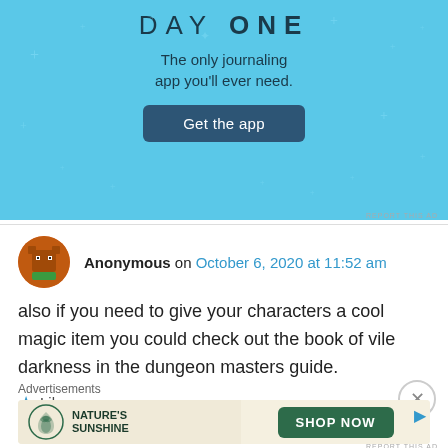[Figure (screenshot): Day One journaling app advertisement. Light blue background with sparkle stars. Text: 'DAY ONE', 'The only journaling app you'll ever need.' and a dark blue 'Get the app' button.]
REPORT THIS AD
Anonymous on October 6, 2020 at 11:52 am
also if you need to give your characters a cool magic item you could check out the book of vile darkness in the dungeon masters guide.
Like
Advertisements
[Figure (screenshot): Nature's Sunshine advertisement with logo and green 'SHOP NOW' button on a light beige background.]
REPORT THIS AD